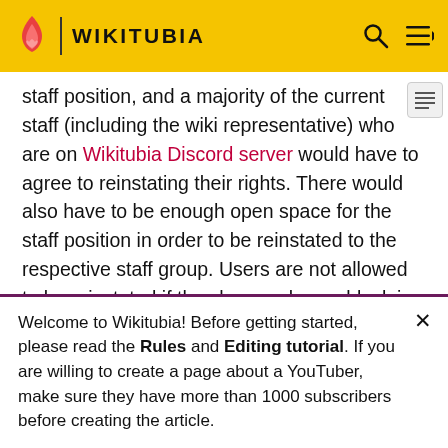WIKITUBIA
staff position, and a majority of the current staff (including the wiki representative) who are on Wikitubia Discord server would have to agree to reinstating their rights. There would also have to be enough open space for the staff position in order to be reinstated to the respective staff group. Users are not allowed to be reinstated if they have only one block in the past year, or if they have had more than one block. They also must meet the edit or post requirements, if they were promoted before there was a requirement. If a vote to
Welcome to Wikitubia! Before getting started, please read the Rules and Editing tutorial. If you are willing to create a page about a YouTuber, make sure they have more than 1000 subscribers before creating the article.